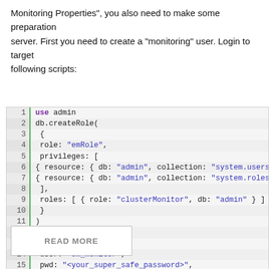Monitoring Properties", you also need to make some preparation on server. First you need to create a "monitoring" user. Login to target following scripts:
[Figure (screenshot): Code block with line numbers 1-18 showing MongoDB shell commands: use admin, db.createRole with emRole privileges on system.users and system.roles collections and clusterMonitor role, then db.createUser creating em_monitor user with emRole.]
READ MORE